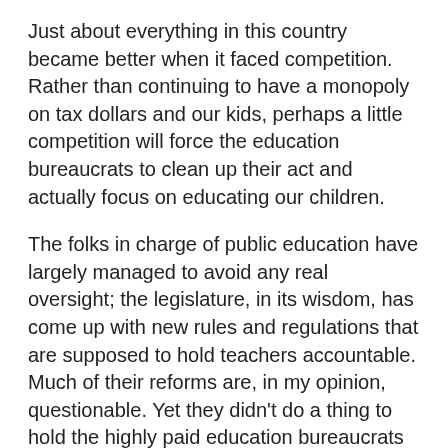Just about everything in this country became better when it faced competition.  Rather than continuing to have a monopoly on tax dollars and our kids, perhaps a little competition will force the education bureaucrats to clean up their act and actually focus on educating our children.
The folks in charge of public education have largely managed to avoid any real oversight; the legislature, in its wisdom, has come up with new rules and regulations that are supposed to hold teachers accountable.  Much of their reforms are, in my opinion, questionable.  Yet they didn't do a thing to hold the highly paid education bureaucrats accountable at all.
Jim McIntyre is a perfect example of the new public school education bureaucrat; he's really